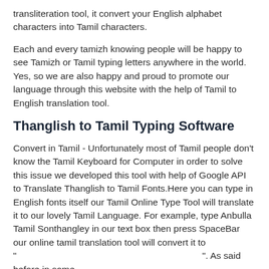transliteration tool, it convert your English alphabet characters into Tamil characters.
Each and every tamizh knowing people will be happy to see Tamizh or Tamil typing letters anywhere in the world. Yes, so we are also happy and proud to promote our language through this website with the help of Tamil to English translation tool.
Thanglish to Tamil Typing Software
Convert in Tamil - Unfortunately most of Tamil people don't know the Tamil Keyboard for Computer in order to solve this issue we developed this tool with help of Google API to Translate Thanglish to Tamil Fonts.Here you can type in English fonts itself our Tamil Online Type Tool will translate it to our lovely Tamil Language. For example, type Anbulla Tamil Sonthangley in our text box then press SpaceBar our online tamil translation tool will convert it to "                              ". As said before in some